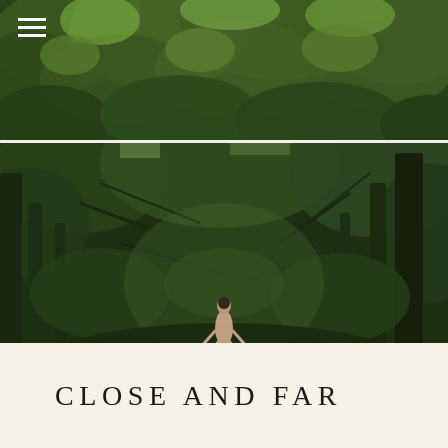[Figure (photo): Top banner photo of dense green forest canopy and foliage, viewed from below with lush green leaves and trees filling the frame.]
[Figure (photo): Main photograph of a forest scene showing a woman standing in a lush green wooded area with trees, branches, and undergrowth surrounding her. The image is moody and dark in tone.]
CLOSE AND FAR